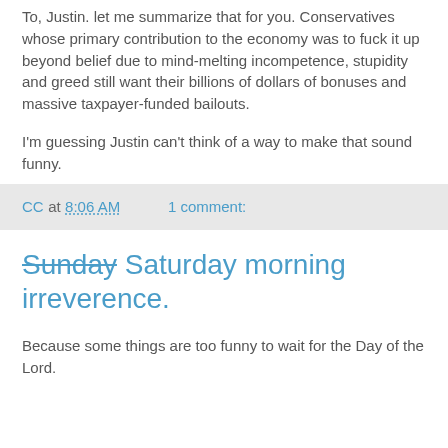To, Justin. let me summarize that for you. Conservatives whose primary contribution to the economy was to fuck it up beyond belief due to mind-melting incompetence, stupidity and greed still want their billions of dollars of bonuses and massive taxpayer-funded bailouts.
I'm guessing Justin can't think of a way to make that sound funny.
CC at 8:06 AM    1 comment:
Sunday Saturday morning irreverence.
Because some things are too funny to wait for the Day of the Lord.